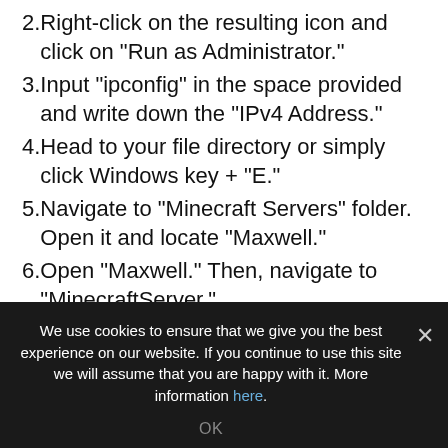2. Right-click on the resulting icon and click on "Run as Administrator."
3. Input "ipconfig" in the space provided and write down the "IPv4 Address."
4. Head to your file directory or simply click Windows key + "E."
5. Navigate to "Minecraft Servers" folder. Open it and locate "Maxwell."
6. Open "Maxwell." Then, navigate to "MinecraftServer."
7. Open it.
8. Right-click on the "server.properties" text file
We use cookies to ensure that we give you the best experience on our website. If you continue to use this site we will assume that you are happy with it. More information here.